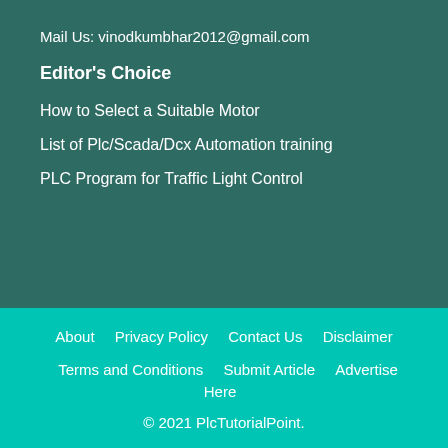Mail Us: vinodkumbhar2012@gmail.com
Editor's Choice
How to Select a Suitable Motor
List of Plc/Scada/Dcx Automation training
PLC Program for Traffic Light Control
About    Privacy Policy    Contact Us    Disclaimer    Terms and Conditions    Submit Article    Advertise Here
© 2021 PlcTutorialPoint.